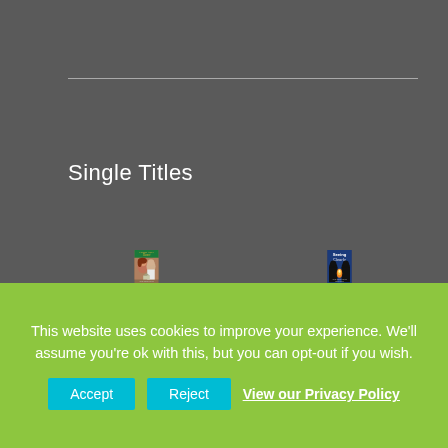Single Titles
[Figure (illustration): Book cover for 'Claiming Annie's Heart' — green top banner with cursive/script title text in gold, couple facing each other in foreground, house in background, 'Award Winning Author' at bottom]
[Figure (illustration): Book cover for 'Seeing Clearly' — blue background with two silhouetted figures facing each other, orange/yellow light between them, 'Award Winning Author' and author name at bottom in white text]
This website uses cookies to improve your experience. We'll assume you're ok with this, but you can opt-out if you wish.
Accept
Reject
View our Privacy Policy